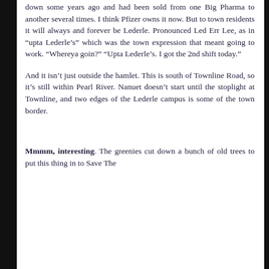down some years ago and had been sold from one Big Pharma to another several times. I think Pfizer owns it now. But to town residents it will always and forever be Lederle. Pronounced Led Err Lee, as in "upta Lederle's" which was the town expression that meant going to work. "Whereya goin?" "Upta Lederle's. I got the 2nd shift today."
And it isn't just outside the hamlet. This is south of Townline Road, so it's still within Pearl River. Nanuet doesn't start until the stoplight at Townline, and two edges of the Lederle campus is some of the town border.
Mmmm, interesting. The greenies cut down a bunch of old trees to put this thing in to Save The